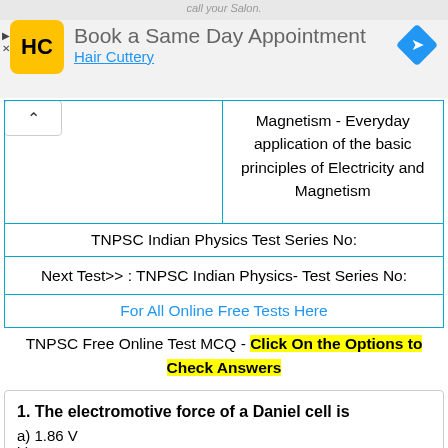[Figure (screenshot): Ad banner: Hair Cuttery logo, 'Book a Same Day Appointment', 'Hair Cuttery' link, blue diamond icon]
|  | Magnetism - Everyday application of the basic principles of Electricity and Magnetism |
| TNPSC Indian Physics Test Series No: |  |
| Next Test>> : TNPSC Indian Physics- Test Series No: |  |
| For All Online Free Tests Here |  |
TNPSC Free Online Test MCQ - Click On the Options to Check Answers
1. The electromotive force of a Daniel cell is
a) 1.86 V
b) 1.88 V